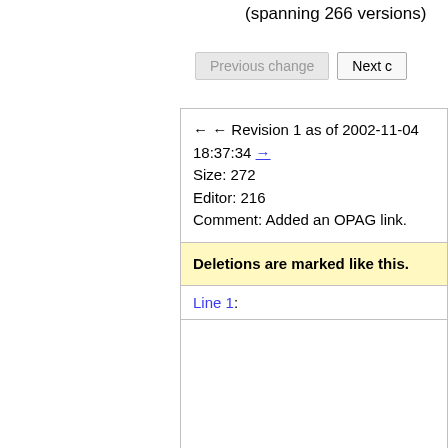(spanning 266 versions)
Previous change   Next c
← ← Revision 1 as of 2002-11-04 18:37:34 →
Size: 272
Editor: 216
Comment: Added an OPAG link.
Deletions are marked like this.
Line 1: